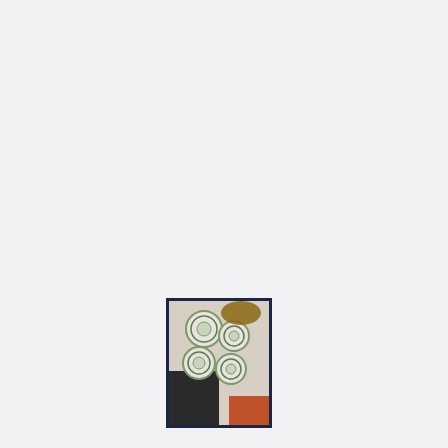[Figure (photo): Small thumbnail photo of fabric coasters arranged on a surface, showing circular coasters in spring green fabric patterns, with a dark navy border frame around the image.]
Set of Eight Coasters in Spring Green Fabrics
Sold out